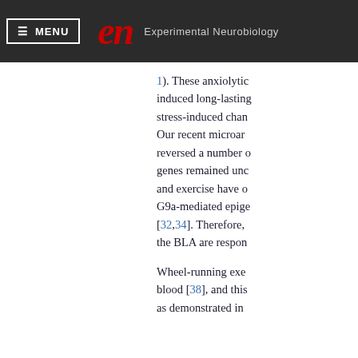≡ MENU   en   Experimental Neurobiology
1). These anxiolytic induced long-lasting stress-induced chan Our recent microar reversed a number o genes remained unc and exercise have o G9a-mediated epige [32,34]. Therefore, the BLA are respon
Wheel-running exe blood [38], and this as demonstrated in